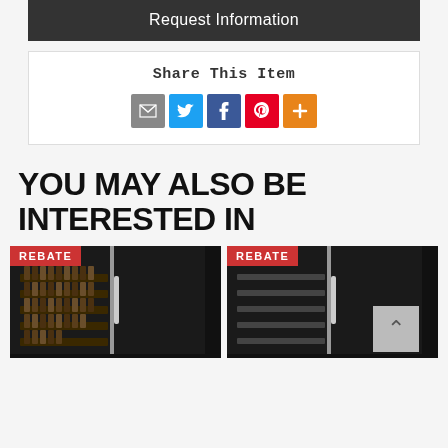Request Information
Share This Item
[Figure (infographic): Social share icons: email (grey), Twitter (blue), Facebook (dark blue), Pinterest (red), More (orange)]
YOU MAY ALSO BE INTERESTED IN
[Figure (photo): Product card with REBATE badge, showing a wine cooler refrigerator with bottles visible on shelves]
[Figure (photo): Product card with REBATE badge, showing a wine cooler refrigerator with empty shelves visible]